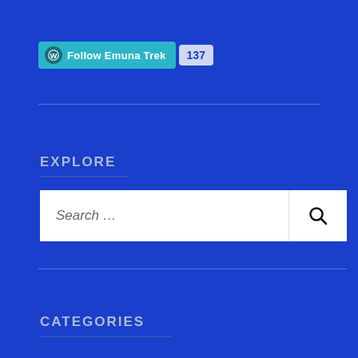[Figure (screenshot): WordPress Follow Emuna Trek button with 137 followers count badge]
EXPLORE
[Figure (screenshot): Search box with placeholder text 'Search ...' and a search/magnifier icon button on the right]
CATEGORIES